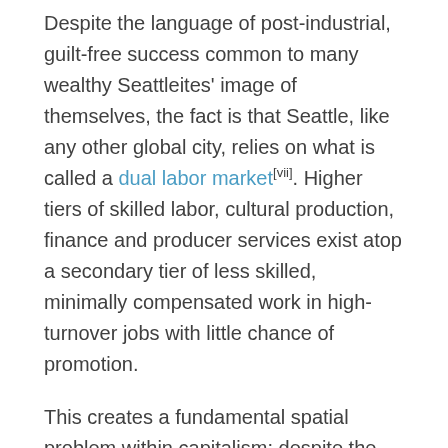Despite the language of post-industrial, guilt-free success common to many wealthy Seattleites' image of themselves, the fact is that Seattle, like any other global city, relies on what is called a dual labor market[vii]. Higher tiers of skilled labor, cultural production, finance and producer services exist atop a secondary tier of less skilled, minimally compensated work in high-turnover jobs with little chance of promotion.
This creates a fundamental spatial problem within capitalism: despite the outsourcing of the dirtiest, most dangerous jobs in manufacturing and